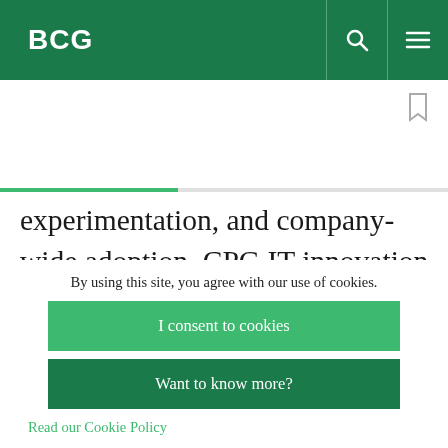BCG
experimentation, and company-wide adoption. CPG IT innovation leaders provide the lion's share of funding for a raft of advanced technology capabilities, such as consumer websites and mobile apps, e-commerce technology and content
By using this site, you agree with our use of cookies.
I consent to cookies
Want to know more?
Read our Cookie Policy